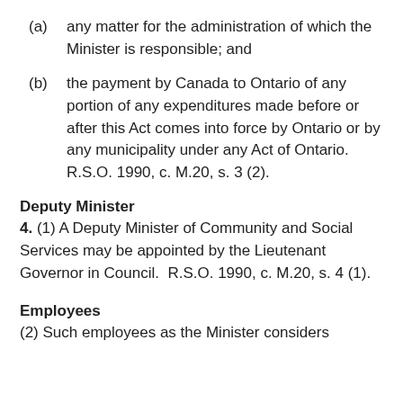(a) any matter for the administration of which the Minister is responsible; and
(b) the payment by Canada to Ontario of any portion of any expenditures made before or after this Act comes into force by Ontario or by any municipality under any Act of Ontario.  R.S.O. 1990, c. M.20, s. 3 (2).
Deputy Minister
4. (1) A Deputy Minister of Community and Social Services may be appointed by the Lieutenant Governor in Council.  R.S.O. 1990, c. M.20, s. 4 (1).
Employees
(2) Such employees as the Minister considers